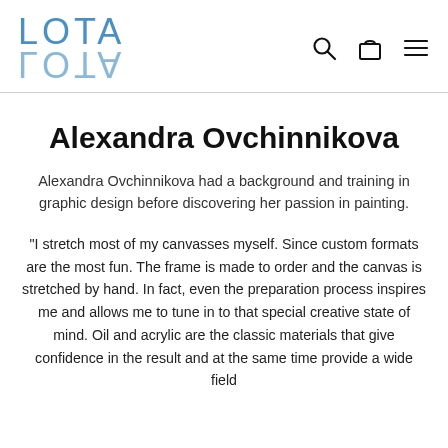LOTA
Alexandra Ovchinnikova
Alexandra Ovchinnikova had a background and training in graphic design before discovering her passion in painting.
"I stretch most of my canvasses myself. Since custom formats are the most fun. The frame is made to order and the canvas is stretched by hand. In fact, even the preparation process inspires me and allows me to tune in to that special creative state of mind. Oil and acrylic are the classic materials that give confidence in the result and at the same time provide a wide field